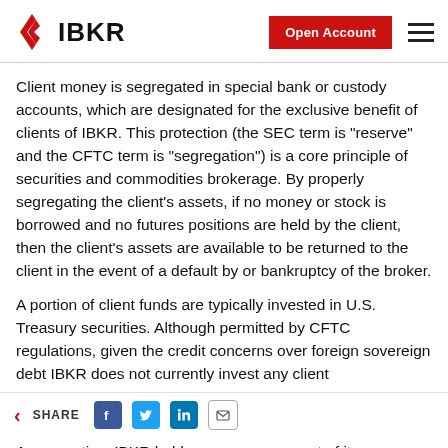IBKR | Open Account
Client money is segregated in special bank or custody accounts, which are designated for the exclusive benefit of clients of IBKR. This protection (the SEC term is "reserve" and the CFTC term is "segregation") is a core principle of securities and commodities brokerage. By properly segregating the client's assets, if no money or stock is borrowed and no futures positions are held by the client, then the client's assets are available to be returned to the client in the event of a default by or bankruptcy of the broker.
A portion of client funds are typically invested in U.S. Treasury securities. Although permitted by CFTC regulations, given the credit concerns over foreign sovereign debt IBKR does not currently invest any client money in money market funds.
As a practice, IBKR holds an excess amount of its own